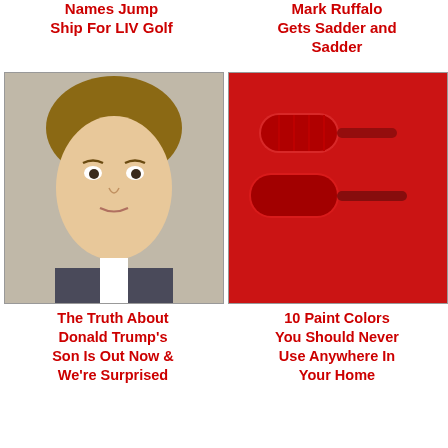Names Jump Ship For LIV Golf
Mark Ruffalo Gets Sadder and Sadder
[Figure (photo): Young boy with light brown hair, serious expression, wearing a suit]
The Truth About Donald Trump's Son Is Out Now & We're Surprised
[Figure (photo): Close-up of red paint rollers on red background]
10 Paint Colors You Should Never Use Anywhere In Your Home
[Figure (photo): Blonde woman with curly hair, glamorous look]
Love Scenes That Everyone Agrees Took Things Too Far
[Figure (photo): Middle-aged man with beard and hat, smiling]
The Tragedy Of Toby Keith Is Just Heartbreaking